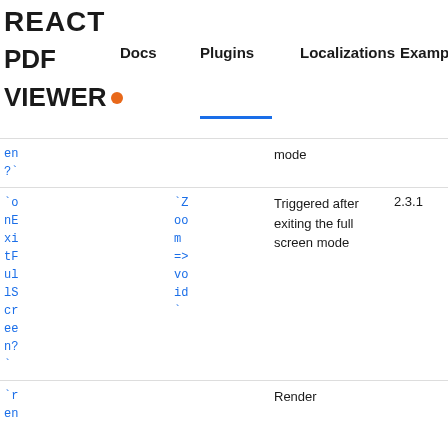REACT PDF VIEWER • | Docs | Plugins | Localizations | Examples
| Prop | Type | Description | Version |
| --- | --- | --- | --- |
| `en?` |  | mode |  |
| `onExitFullScreen?` | `Zoom => void` | Triggered after exiting the full screen mode | 2.3.1 |
| `ren |  | Render |  |